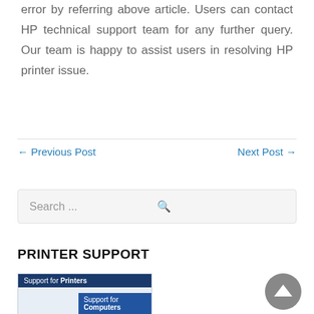error by referring above article. Users can contact HP technical support team for any further query. Our team is happy to assist users in resolving HP printer issue.
← Previous Post    Next Post →
Search ...
PRINTER SUPPORT
[Figure (screenshot): Thumbnail image showing 'Support for Printers' and 'Support for Computers' banner labels]